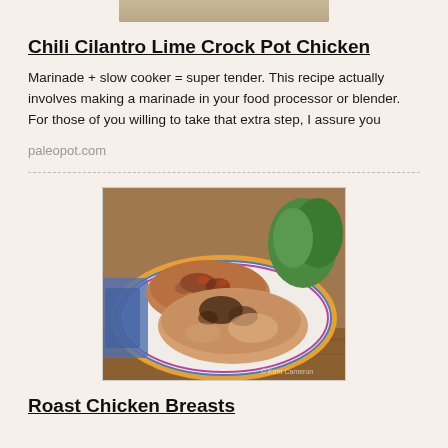[Figure (photo): Top portion of a food photo, partially visible at the top of the page]
Chili Cilantro Lime Crock Pot Chicken
Marinade + slow cooker = super tender. This recipe actually involves making a marinade in your food processor or blender. For those of you willing to take that extra step, I assure you
paleopot.com
[Figure (photo): Photo of roasted chicken breasts on a decorative plate with colorful border, garnished with herbs, on a wooden surface]
Roast Chicken Breasts